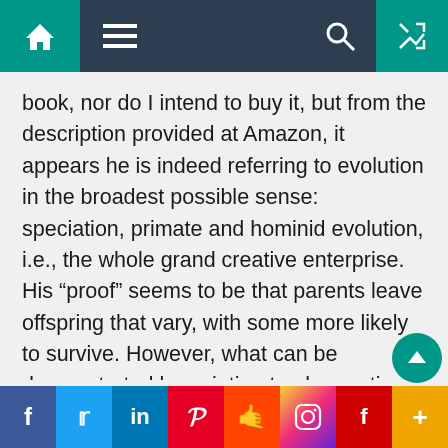Navigation bar with home, menu, search, and shuffle icons
book, nor do I intend to buy it, but from the description provided at Amazon, it appears he is indeed referring to evolution in the broadest possible sense: speciation, primate and hominid evolution, i.e., the whole grand creative enterprise. His “proof” seems to be that parents leave offspring that vary, with some more likely to survive. However, what can be demonstrated by pointing to observations of varying offspring with different survival rates is that there are varying offspring with different survival rates, and nothing more. Everything beyond that is extrapolation and speculation, little different from Mr. Darwin’s argument over a century and a half ago. So
f  Twitter  in  Pinterest  Reddit  Instagram  Flipboard  +